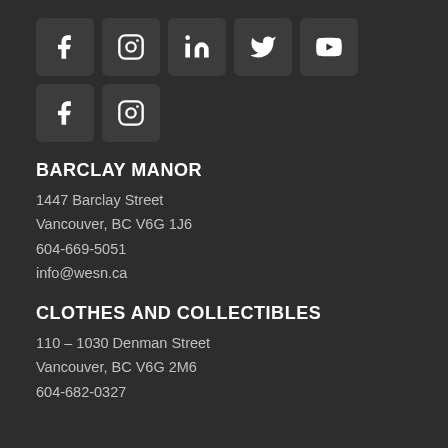[Figure (other): Row of 5 social media icon boxes: Facebook, Instagram, LinkedIn, Twitter, YouTube]
[Figure (other): Row of 2 social media icon boxes: Facebook, Instagram]
BARCLAY MANOR
1447 Barclay Street
Vancouver, BC V6G 1J6
604-669-5051
info@wesn.ca
CLOTHES AND COLLECTIBLES
110 – 1030 Denman Street
Vancouver, BC V6G 2M6
604-682-0327